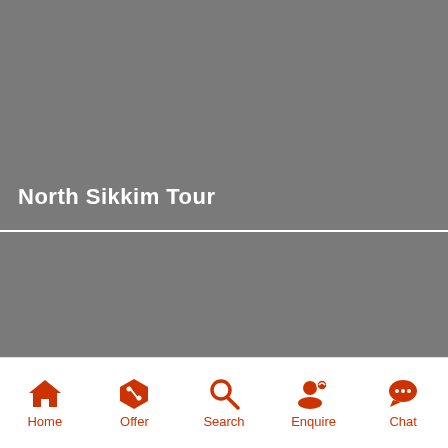[Figure (photo): Gray placeholder image for North Sikkim Tour header photo]
North Sikkim Tour
[Figure (photo): Gray placeholder image for tour detail photo with 6 Days badge]
6 Days
Home  Offer  Search  Enquire  Chat